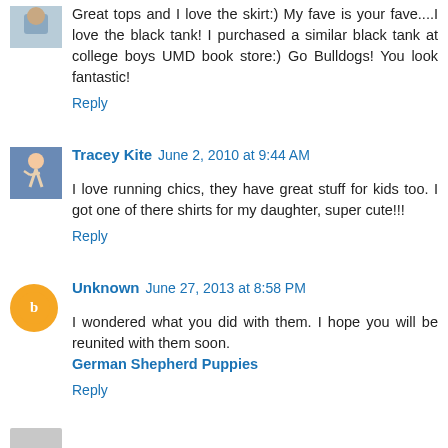Great tops and I love the skirt:) My fave is your fave....I love the black tank! I purchased a similar black tank at college boys UMD book store:) Go Bulldogs! You look fantastic!
Reply
Tracey Kite  June 2, 2010 at 9:44 AM
I love running chics, they have great stuff for kids too. I got one of there shirts for my daughter, super cute!!!
Reply
Unknown  June 27, 2013 at 8:58 PM
I wondered what you did with them. I hope you will be reunited with them soon.
German Shepherd Puppies
Reply